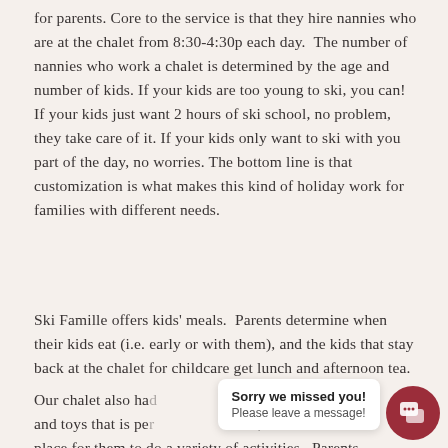for parents. Core to the service is that they hire nannies who are at the chalet from 8:30-4:30p each day.  The number of nannies who work a chalet is determined by the age and number of kids. If your kids are too young to ski, you can! If your kids just want 2 hours of ski school, no problem, they take care of it. If your kids only want to ski with you part of the day, no worries. The bottom line is that customization is what makes this kind of holiday work for families with different needs.
Ski Famille offers kids' meals.  Parents determine when their kids eat (i.e. early or with them), and the kids that stay back at the chalet for childcare get lunch and afternoon tea.
Our chalet also ha[d] ...h g... and toys that is pe[rfect for]...e,... place for them to do a variety of activities.  Parents